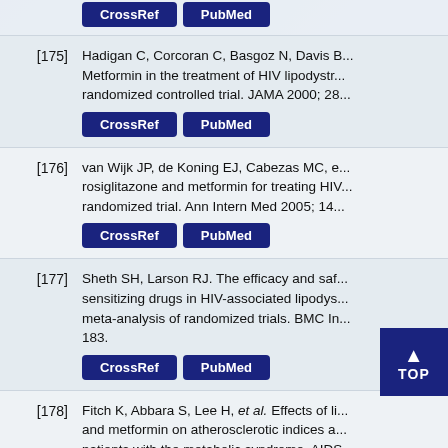[175] Hadigan C, Corcoran C, Basgoz N, Davis B... Metformin in the treatment of HIV lipodystrophy: a randomized controlled trial. JAMA 2000; 28...
[176] van Wijk JP, de Koning EJ, Cabezas MC, et al. rosiglitazone and metformin for treating HIV... randomized trial. Ann Intern Med 2005; 14...
[177] Sheth SH, Larson RJ. The efficacy and safety of insulin-sensitizing drugs in HIV-associated lipodystrophy: a meta-analysis of randomized trials. BMC Infect Dis... 183.
[178] Fitch K, Abbara S, Lee H, et al. Effects of lifestyle intervention and metformin on atherosclerotic indices among HIV-infected patients with the metabolic syndrome. AIDS...
[179] Mather KJ, Verma S, Anderson TJ. Improved endothelial function with metformin in type 2 diabetes mellitus.